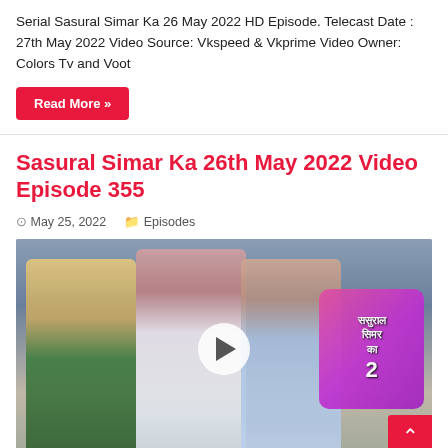Serial Sasural Simar Ka 26 May 2022 HD Episode. Telecast Date : 27th May 2022 Video Source: Vkspeed & Vkprime Video Owner: Colors Tv and Voot
Read More »
Sasural Simar Ka 26th May 2022 Video Episode 355
May 25, 2022   Episodes
[Figure (photo): Thumbnail image for Sasural Simar Ka episode 355, showing three actors in a promotional still with a play button overlay and the show logo (Sasural Simar Ka 2) in the top right]